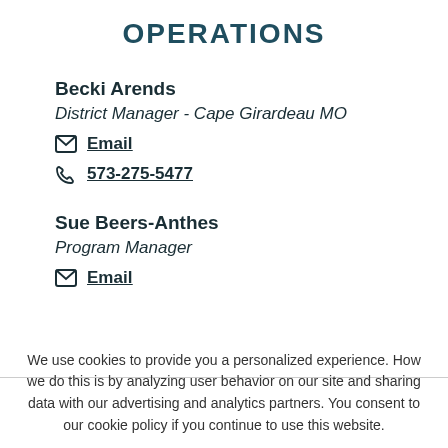OPERATIONS
Becki Arends
District Manager - Cape Girardeau MO
Email
573-275-5477
Sue Beers-Anthes
Program Manager
Email
We use cookies to provide you a personalized experience. How we do this is by analyzing user behavior on our site and sharing data with our advertising and analytics partners. You consent to our cookie policy if you continue to use this website.
I UNDERSTAND